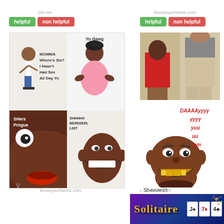me.me
knowyourmeme.com
helpful | non helpful (left)
helpful | non helpful (right)
[Figure (illustration): 4-panel comic meme: top-left panel shows stick figure man saying 'Momma where's sis? I hasn't had sex all day yo', top-right shows cartoon black woman saying 'Yo dawg fool', bottom-left shows close-up cartoon face saying 'Shes progue', bottom-right shows cartoon face with big smile saying 'SHHHHH BEREEERL LIIIIT']
[Figure (photo): Photo of two people from behind in a store, one wearing red shirt and one in shorts]
[Figure (illustration): Cartoon troll face with text 'DAAAAyyyyyyy yyy youu uu mm']
- Sheeeeiiit
knowyourmeme.com
onsizzle.com
[Figure (screenshot): Advertisement banner for Solitaire game with purple/blue background, gold text reading 'Solitaire', playing cards, and fireworks]